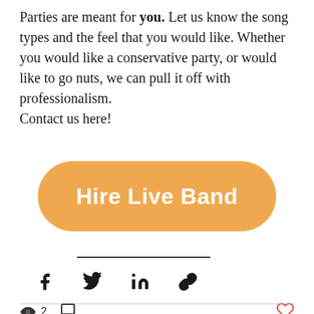Parties are meant for you. Let us know the song types and the feel that you would like. Whether you would like a conservative party, or would like to go nuts, we can pull it off with professionalism.
Contact us here!
[Figure (other): Orange rounded-rectangle button with white bold text reading 'Hire Live Band']
[Figure (infographic): Social sharing icons: Facebook (f), Twitter (bird), LinkedIn (in), Link (chain icon)]
[Figure (infographic): Reactions row: eye icon with count 2, comment bubble icon, and heart icon on the right]